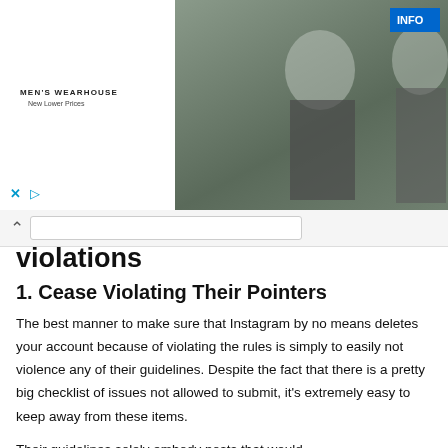[Figure (screenshot): Men's Wearhouse advertisement banner showing a couple in formal wear, a man in a suit, an INFO button, and ad controls (X and play icons).]
violations
1. Cease Violating Their Pointers
The best manner to make sure that Instagram by no means deletes your account because of violating the rules is simply to easily not violence any of their guidelines. Despite the fact that there is a pretty big checklist of issues not allowed to submit, it's extremely easy to keep away from these items.
Their guidelines solely embody posts that would